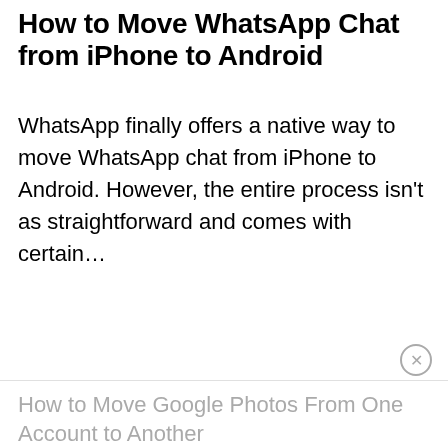How to Move WhatsApp Chat from iPhone to Android
WhatsApp finally offers a native way to move WhatsApp chat from iPhone to Android. However, the entire process isn't as straightforward and comes with certain...
How to Move Google Photos From One Account to Another